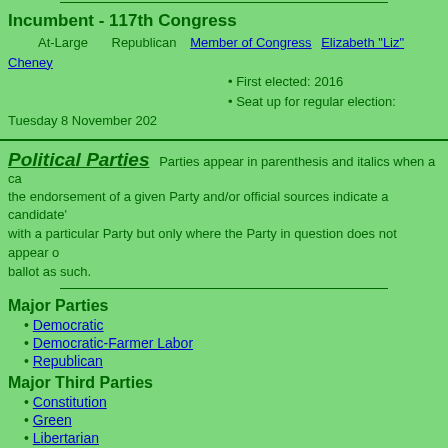Incumbent - 117th Congress
At-Large   Republican   Member of Congress   Elizabeth "Liz" Cheney
• First elected: 2016
• Seat up for regular election: Tuesday 8 November 202…
Political Parties
Parties appear in parenthesis and italics when a candidate has not received the endorsement of a given Party and/or official sources indicate a candidate's affiliation with a particular Party but only where the Party in question does not appear on the ballot as such.
Major Parties
Democratic
Democratic-Farmer Labor
Republican
Major Third Parties
Constitution
Green
Libertarian
Reform
Other Third Parties
American Patriot Party
Communist
Conservative
Independence